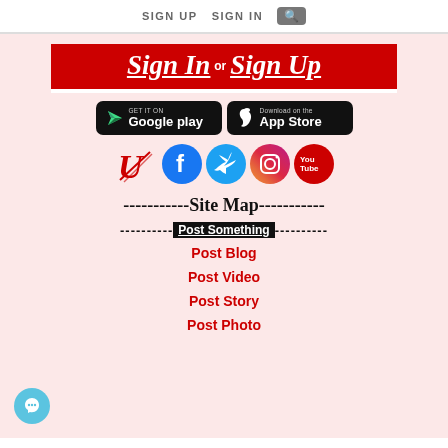SIGN UP   SIGN IN  🔍
[Figure (logo): Sign In or Sign Up banner with red background, white bold italic underlined text]
[Figure (logo): Google Play and Apple App Store download buttons side by side on black backgrounds]
[Figure (logo): Social media icons: custom U logo, Facebook, Twitter, Instagram, YouTube]
----------Site Map----------
----------Post Something----------
Post Blog
Post Video
Post Story
Post Photo